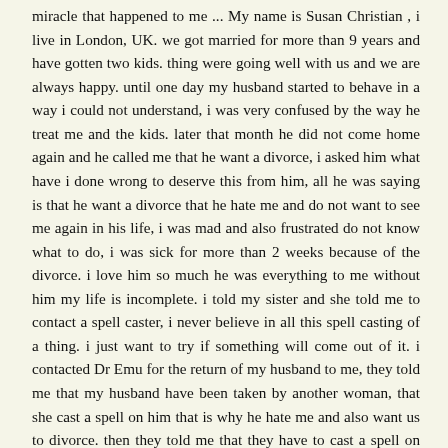miracle that happened to me ... My name is Susan Christian , i live in London, UK. we got married for more than 9 years and have gotten two kids. thing were going well with us and we are always happy. until one day my husband started to behave in a way i could not understand, i was very confused by the way he treat me and the kids. later that month he did not come home again and he called me that he want a divorce, i asked him what have i done wrong to deserve this from him, all he was saying is that he want a divorce that he hate me and do not want to see me again in his life, i was mad and also frustrated do not know what to do, i was sick for more than 2 weeks because of the divorce. i love him so much he was everything to me without him my life is incomplete. i told my sister and she told me to contact a spell caster, i never believe in all this spell casting of a thing. i just want to try if something will come out of it. i contacted Dr Emu for the return of my husband to me, they told me that my husband have been taken by another woman, that she cast a spell on him that is why he hate me and also want us to divorce. then they told me that they have to cast a spell on him that will make him return to me and the kids, they casted the spell and after 24 hours my husband called me and he told me that i should forgive him, he started to apologize on phone and said that he still love me that he did not know what happen to him that he left me. it was the